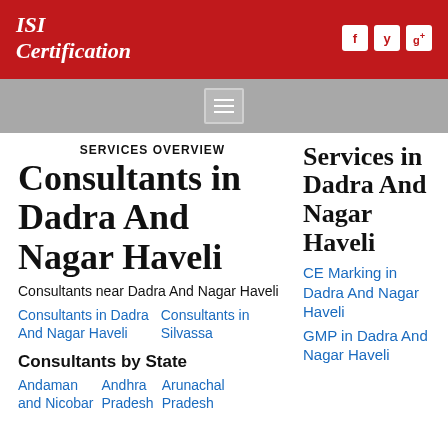ISI Certification
SERVICES OVERVIEW
Consultants in Dadra And Nagar Haveli
Consultants near Dadra And Nagar Haveli
Consultants in Dadra And Nagar Haveli   Consultants in Silvassa
Consultants by State
Andaman and Nicobar   Andhra Pradesh   Arunachal Pradesh
Services in Dadra And Nagar Haveli
CE Marking in Dadra And Nagar Haveli
GMP in Dadra And Nagar Haveli